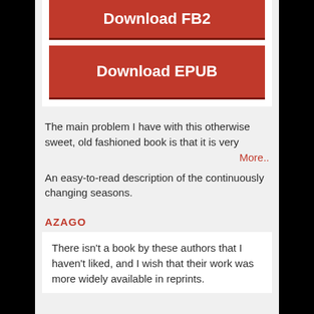[Figure (other): Download FB2 button — red/dark-red rectangular button with white bold text]
[Figure (other): Download EPUB button — red/dark-red rectangular button with white bold text]
The main problem I have with this otherwise sweet, old fashioned book is that it is very
More..
An easy-to-read description of the continuously changing seasons.
AZAGO
There isn't a book by these authors that I haven't liked, and I wish that their work was more widely available in reprints.